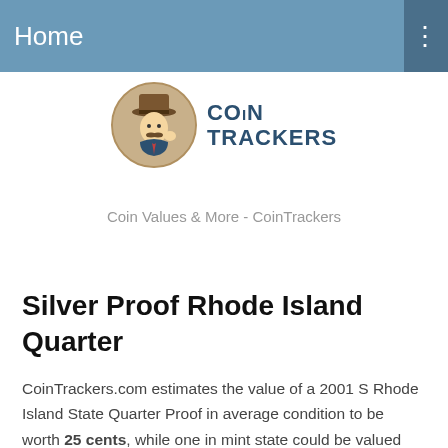Home
[Figure (logo): CoinTrackers logo with illustrated detective character in a circular badge alongside the text COIN TRACKERS]
Coin Values & More - CoinTrackers
Silver Proof Rhode Island Quarter
CoinTrackers.com estimates the value of a 2001 S Rhode Island State Quarter Proof in average condition to be worth 25 cents, while one in mint state could be valued around $15.00. - Last updated: August, 25 2022